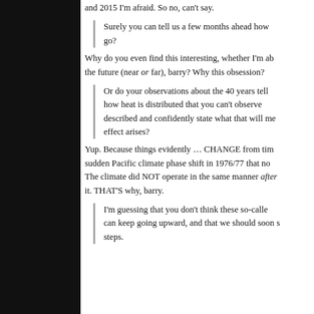and 2015 I'm afraid. So no, can't say.
Surely you can tell us a few months ahead how go?
Why do you even find this interesting, whether I'm able to predict the future (near or far), barry? Why this obsession?
Or do your observations about the 40 years tell how heat is distributed that you can't observe described and confidently state what that will me effect arises?
Yup. Because things evidently … CHANGE from time sudden Pacific climate phase shift in 1976/77 that no The climate did NOT operate in the same manner after it. THAT'S why, barry.
I'm guessing that you don't think these so-called can keep going upward, and that we should soon see steps.